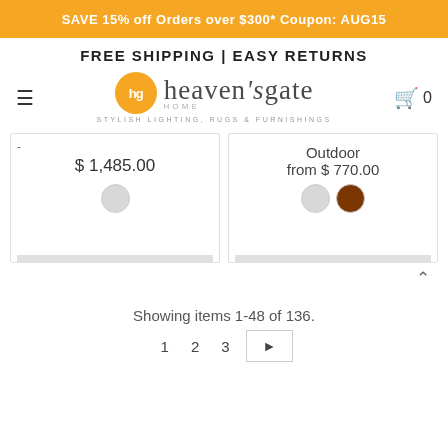SAVE 15% off Orders over $300* Coupon: AUG15
FREE SHIPPING | EASY RETURNS
[Figure (logo): Heaven's Gate Home logo with orange circle 'hg', text heaven'sgate HOME, and tagline STYLISH LIGHTING, RUGS & FURNISHINGS]
$ 1,485.00
Outdoor from $ 770.00
Showing items 1-48 of 136.
1  2  3  ►